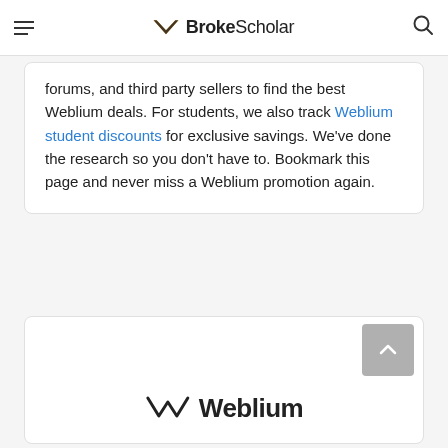BrokeScholar
forums, and third party sellers to find the best Weblium deals. For students, we also track Weblium student discounts for exclusive savings. We've done the research so you don't have to. Bookmark this page and never miss a Weblium promotion again.
[Figure (logo): Weblium logo with crown/W icon and text 'Weblium']